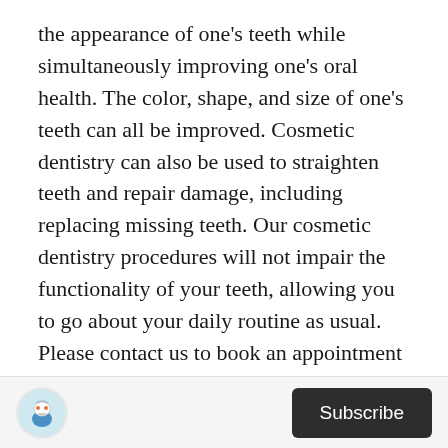the appearance of one's teeth while simultaneously improving one's oral health. The color, shape, and size of one's teeth can all be improved. Cosmetic dentistry can also be used to straighten teeth and repair damage, including replacing missing teeth. Our cosmetic dentistry procedures will not impair the functionality of your teeth, allowing you to go about your daily routine as usual. Please contact us to book an appointment if you are interested in improving your smile. We'll discuss your alternatives and tailor your smile to your preferences.
[Figure (logo): Small circular logo icon depicting a dental/medical related illustration]